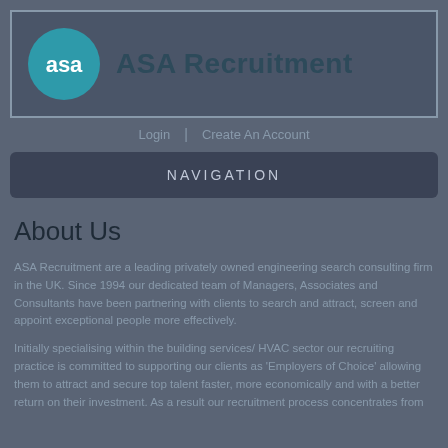[Figure (logo): ASA Recruitment logo: teal circle with white 'asa' text beside large dark teal 'ASA Recruitment' company name]
Login | Create An Account
NAVIGATION
About Us
ASA Recruitment are a leading privately owned engineering search consulting firm in the UK. Since 1994 our dedicated team of Managers, Associates and Consultants have been partnering with clients to search and attract, screen and appoint exceptional people more effectively.
Initially specialising within the building services/ HVAC sector our recruiting practice is committed to supporting our clients as 'Employers of Choice' allowing them to attract and secure top talent faster, more economically and with a better return on their investment. As a result our recruitment process concentrates from